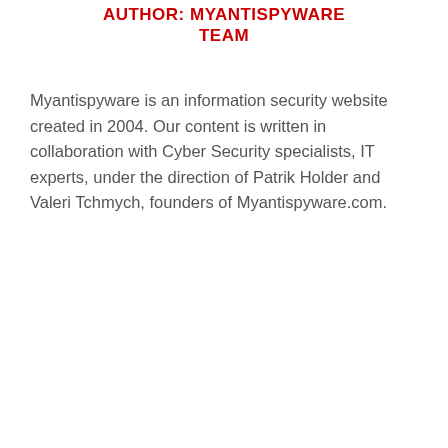AUTHOR: MYANTISPYWARE TEAM
Myantispyware is an information security website created in 2004. Our content is written in collaboration with Cyber Security specialists, IT experts, under the direction of Patrik Holder and Valeri Tchmych, founders of Myantispyware.com.